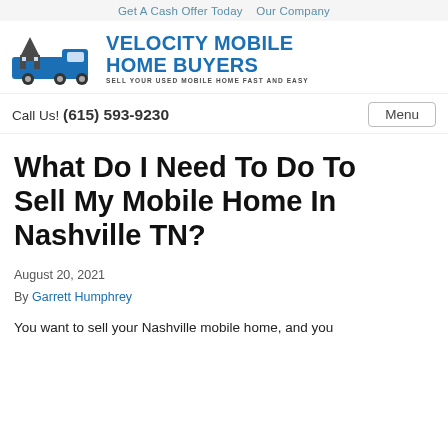Get A Cash Offer Today   Our Company
[Figure (logo): Velocity Mobile Home Buyers logo: blue house on truck icon with text 'VELOCITY MOBILE HOME BUYERS' and tagline 'SELL YOUR USED MOBILE HOME FAST AND EASY']
Call Us! (615) 593-9230   Menu
What Do I Need To Do To Sell My Mobile Home In Nashville TN?
August 20, 2021
By Garrett Humphrey
You want to sell your Nashville mobile home, and you